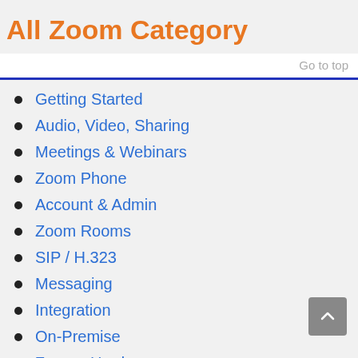All Zoom Category
Go to top
Getting Started
Audio, Video, Sharing
Meetings & Webinars
Zoom Phone
Account & Admin
Zoom Rooms
SIP / H.323
Messaging
Integration
On-Premise
Zoom - Hardware
Zoom Frequently Asked Questions